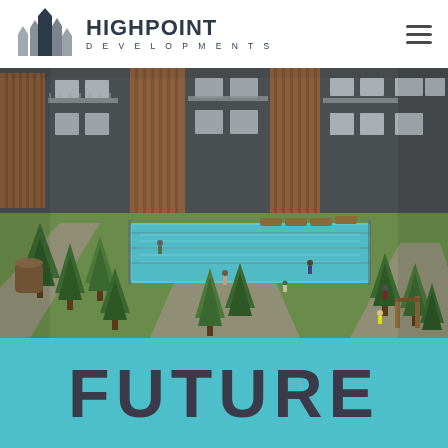HIGHPOINT DEVELOPMENTS
[Figure (photo): Architectural rendering of a modern residential development with wood and dark gray exterior, featuring an outdoor pool area with lounge chairs, landscaped green spaces with evergreen trees, walkways, and residents enjoying the amenities.]
FUTURE